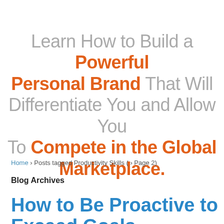Learn How to Build a Powerful Personal Brand That Will Differentiate You and Allow You To Compete in the Global Marketplace.
Home › Posts tagged Productivity Skills ( › Page 2)
Blog Archives
How to Be Proactive to Exceed Goals